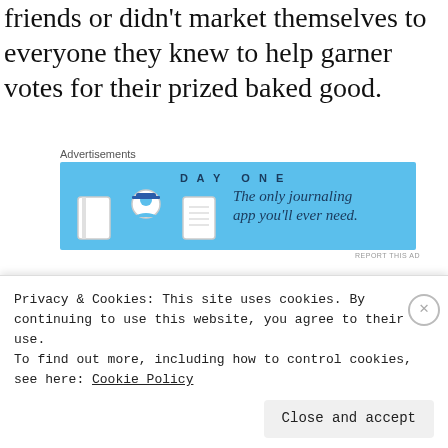friends or didn't market themselves to everyone they knew to help garner votes for their prized baked good.
[Figure (screenshot): Day One journaling app advertisement with blue background, icons, and tagline 'The only journaling app you'll ever need.']
That's not only not fair, but it's a fake cake contest. This type of contest is actually evaluating your popularity, not your baking abilities. So in reality, you're winning a popularity contest.
Privacy & Cookies: This site uses cookies. By continuing to use this website, you agree to their use. To find out more, including how to control cookies, see here: Cookie Policy  Close and accept